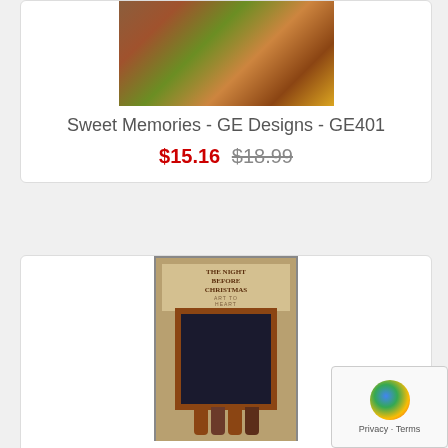[Figure (photo): Partial view of a quilt pattern book cover with colorful fabric designs, flowers, and autumn motifs - Sweet Memories by GE Designs]
Sweet Memories - GE Designs - GE401
$15.16 $18.99
[Figure (photo): Book cover of 'The Night Before Christmas' by Art to Heart (514B), showing a framed Santa quilt and decorative Christmas stockings hanging on a railing with a Christmas tree in background]
The Night Before Christmas - Art to Heart - 514B
$16.79 $20.99